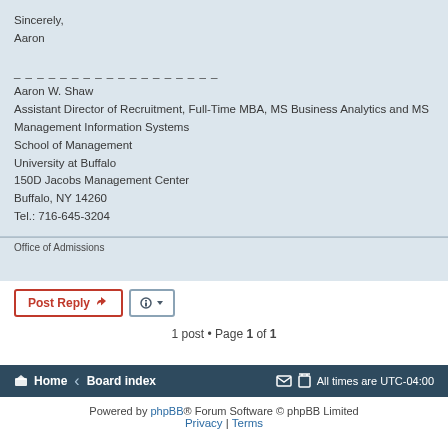Sincerely,
Aaron
_ _ _ _ _ _ _ _ _ _ _ _ _ _ _ _ _ _
Aaron W. Shaw
Assistant Director of Recruitment, Full-Time MBA, MS Business Analytics and MS Management Information Systems
School of Management
University at Buffalo
150D Jacobs Management Center
Buffalo, NY 14260
Tel.: 716-645-3204
Office of Admissions
Post Reply
1 post • Page 1 of 1
Home · Board index   All times are UTC-04:00
Powered by phpBB® Forum Software © phpBB Limited
Privacy | Terms